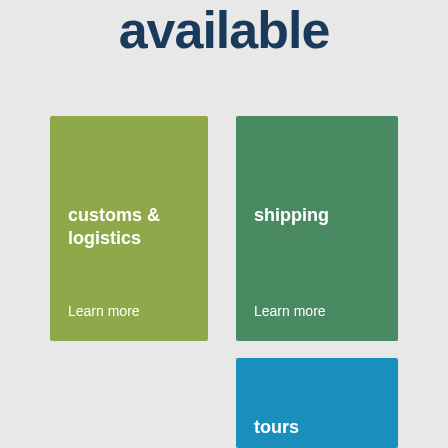available
[Figure (infographic): Green card labeled 'customs & logistics' with 'Learn more' link]
[Figure (infographic): Dark green card labeled 'shipping' with 'Learn more' link]
[Figure (infographic): Blue card labeled 'tours' (partial, cut off at bottom)]